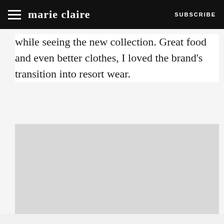marie claire  SUBSCRIBE
while seeing the new collection. Great food and even better clothes, I loved the brand's transition into resort wear.
[Figure (photo): Gray placeholder image for an article photo]